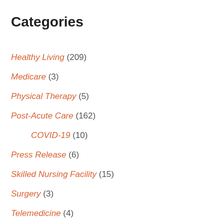Categories
Healthy Living (209)
Medicare (3)
Physical Therapy (5)
Post-Acute Care (162)
COVID-19 (10)
Press Release (6)
Skilled Nursing Facility (15)
Surgery (3)
Telemedicine (4)
Uncategorized (10)
Walking Assistance (1)